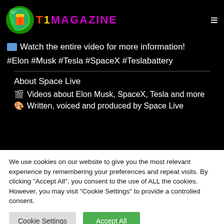[Figure (logo): Green leaf logo with orange/yellow T letter and purple MAGAZINE text]
📺 Watch the entire video for more information!
#Elon #Musk #Tesla #SpaceX #Teslabattery
About Space Live
🎬 Videos about Elon Musk, SpaceX, Tesla and more
🎨 Written, voiced and produced by Space Live
We use cookies on our website to give you the most relevant experience by remembering your preferences and repeat visits. By clicking "Accept All", you consent to the use of ALL the cookies. However, you may visit "Cookie Settings" to provide a controlled consent.